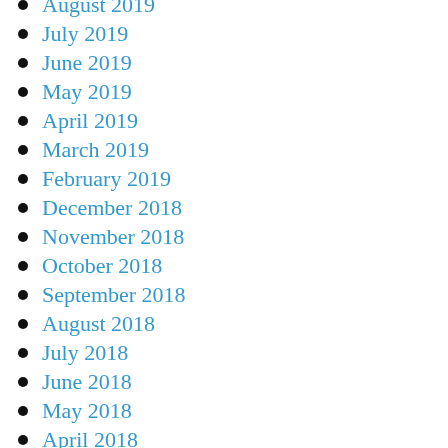August 2019
July 2019
June 2019
May 2019
April 2019
March 2019
February 2019
December 2018
November 2018
October 2018
September 2018
August 2018
July 2018
June 2018
May 2018
April 2018
March 2018